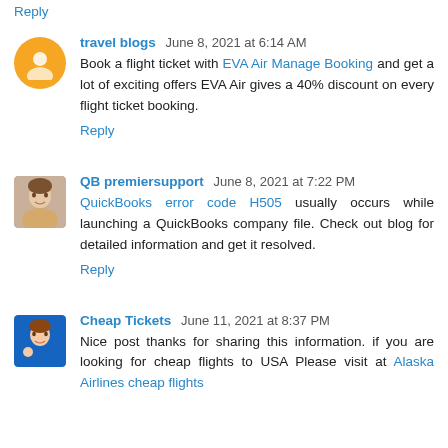Reply
travel blogs June 8, 2021 at 6:14 AM
Book a flight ticket with EVA Air Manage Booking and get a lot of exciting offers EVA Air gives a 40% discount on every flight ticket booking.
Reply
QB premiersupport June 8, 2021 at 7:22 PM
QuickBooks error code H505 usually occurs while launching a QuickBooks company file. Check out blog for detailed information and get it resolved.
Reply
Cheap Tickets June 11, 2021 at 8:37 PM
Nice post thanks for sharing this information. if you are looking for cheap flights to USA Please visit at Alaska Airlines cheap flights